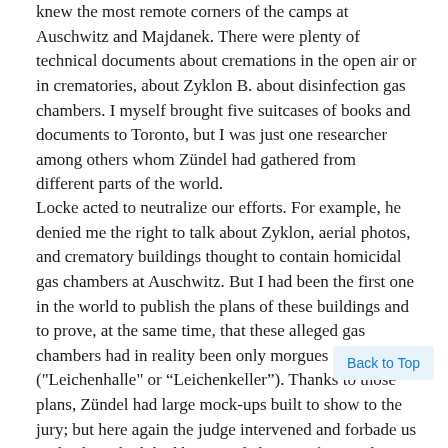knew the most remote corners of the camps at Auschwitz and Majdanek. There were plenty of technical documents about cremations in the open air or in crematories, about Zyklon B. about disinfection gas chambers. I myself brought five suitcases of books and documents to Toronto, but I was just one researcher among others whom Zündel had gathered from different parts of the world.
Locke acted to neutralize our efforts. For example, he denied me the right to talk about Zyklon, aerial photos, and crematory buildings thought to contain homicidal gas chambers at Auschwitz. But I had been the first one in the world to publish the plans of these buildings and to prove, at the same time, that these alleged gas chambers had in reality been only morgues ("Leichenhalle" or “Leichenkeller”). Thanks to those plans, Zündel had large mock-ups built to show to the jury; but here again the judge intervened and forbade us to display which had been made by a professional. Most important, Locke forbade me to talk about the gas chambers used for executions in the United States; he said that he did not see the relevance. In